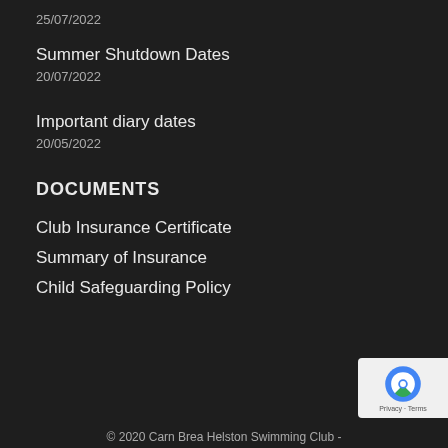25/07/2022
Summer Shutdown Dates
20/07/2022
Important diary dates
20/05/2022
DOCUMENTS
Club Insurance Certificate
Summary of Insurance
Child Safeguarding Policy
© 2020 Carn Brea Helston Swimming Club -